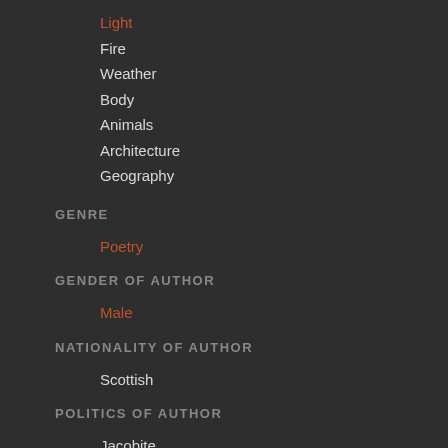Light
Fire
Weather
Body
Animals
Architecture
Geography
GENRE
Poetry
GENDER OF AUTHOR
Male
NATIONALITY OF AUTHOR
Scottish
POLITICS OF AUTHOR
Jacobite